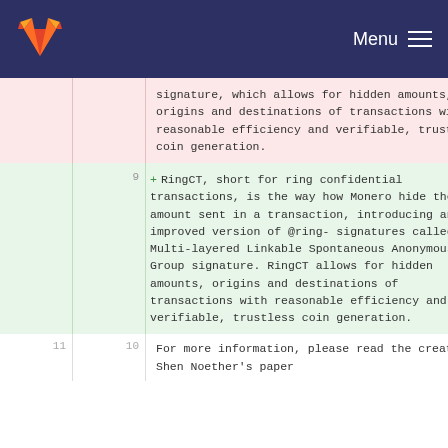Menu
| old line | new line | code |
| --- | --- | --- |
|  |  | signature, which allows for hidden amounts, origins and destinations of transactions with reasonable efficiency and verifiable, trustless coin generation. |
| 9 | + | RingCT, short for ring confidential transactions, is the way how Monero hide the amount sent in a transaction, introducing an improved version of @ring-signatures called A Multi-layered Linkable Spontaneous Anonymous Group signature. RingCT allows for hidden amounts, origins and destinations of transactions with reasonable efficiency and verifiable, trustless coin generation. |
| 11 | 10 | For more information, please read the creator Shen Noether's paper |